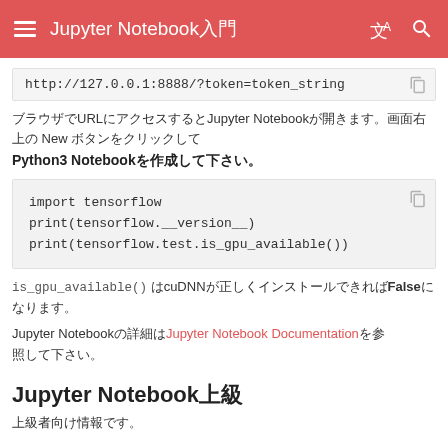Jupyter Notebook入門
http://127.0.0.1:8888/?token=token_string
ブラウザでURLにアクセスするとJupyter Notebookが開きます。画面右上のNew ボタンをクリックして
Python3 Notebookを作成して下さい。
import tensorflow
print(tensorflow.__version__)
print(tensorflow.test.is_gpu_available())
is_gpu_available() はcuDNNが正しくインストールできればFalseになります。
Jupyter Notebookの詳細はJupyter Notebook Documentationを参照して下さい。
Jupyter Notebook上級
上級者向け情報です。